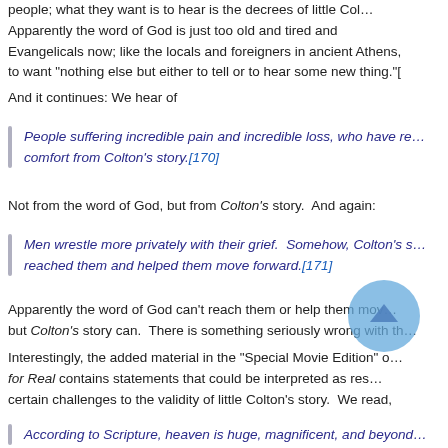people; what they want is to hear is the decrees of little Col… Apparently the word of God is just too old and tired and … Evangelicals now; like the locals and foreigners in ancient Athens, … to want "nothing else but either to tell or to hear some new thing."[…
And it continues: We hear of
People suffering incredible pain and incredible loss, who have re… comfort from Colton's story.[170]
Not from the word of God, but from Colton's story.  And again:
Men wrestle more privately with their grief.  Somehow, Colton's s… reached them and helped them move forward.[171]
Apparently the word of God can't reach them or help them mov… but Colton's story can.  There is something seriously wrong with th…
Interestingly, the added material in the "Special Movie Edition" o… for Real contains statements that could be interpreted as res… certain challenges to the validity of little Colton's story.  We read,
According to Scripture, heaven is huge, magnificent, and beyond…